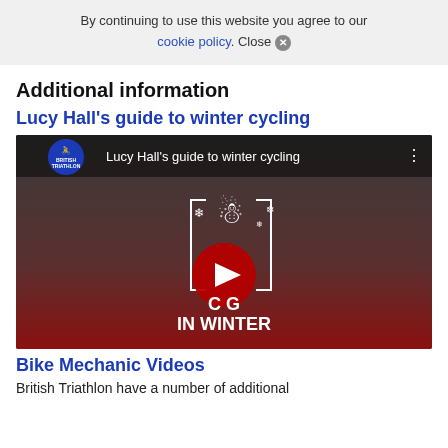By continuing to use this website you agree to our cookie policy. Close ✕
Additional information
Lucy Hall's guide to winter cycling
[Figure (screenshot): YouTube video thumbnail for 'Lucy Hall's guide to winter cycling' by British Triathlon, showing a room with bikes and a large red YouTube play button in center, with text 'CYCLING IN WINTER' overlaid in white, and a snowman graphic with snowflakes.]
Bike Mechanic Videos
British Triathlon have a number of additional